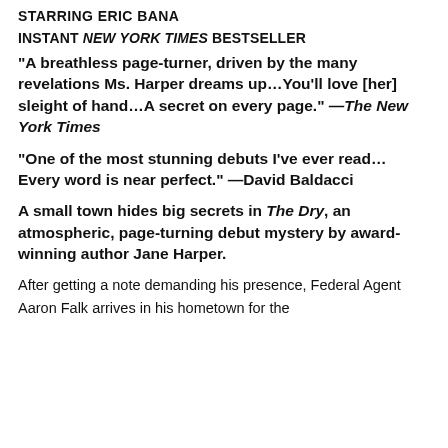STARRING ERIC BANA
INSTANT NEW YORK TIMES BESTSELLER
“A breathless page-turner, driven by the many revelations Ms. Harper dreams up…You’ll love [her] sleight of hand…A secret on every page.” —The New York Times
“One of the most stunning debuts I’ve ever read… Every word is near perfect.” —David Baldacci
A small town hides big secrets in The Dry, an atmospheric, page-turning debut mystery by award-winning author Jane Harper.
After getting a note demanding his presence, Federal Agent Aaron Falk arrives in his hometown for the